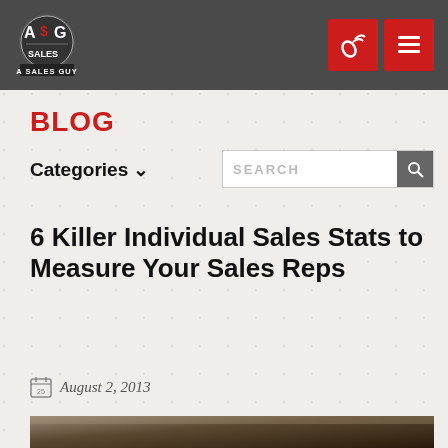A Sales Guy - Blog
BLOG
Categories ∨
6 Killer Individual Sales Stats to Measure Your Sales Reps
August 2, 2013
[Figure (photo): Photo at bottom of page, dark tones showing what appears to be a notebook or device on a desk]